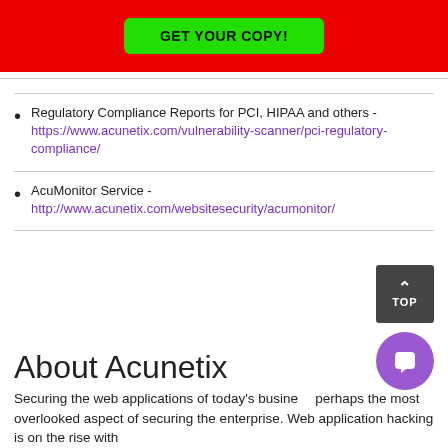[Figure (other): Red banner with green GET YOUR COPY! button]
Regulatory Compliance Reports for PCI, HIPAA and others - https://www.acunetix.com/vulnerability-scanner/pci-regulatory-compliance/
AcuMonitor Service  - http://www.acunetix.com/websitesecurity/acumonitor/
About Acunetix
Securing the web applications of today's business perhaps the most overlooked aspect of securing the enterprise. Web application hacking is on the rise with